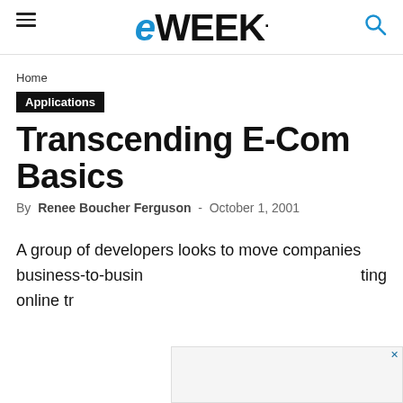eWEEK
Home
Applications
Transcending E-Com Basics
By Renee Boucher Ferguson - October 1, 2001
A group of developers looks to move companies business-to-business... ting online tr